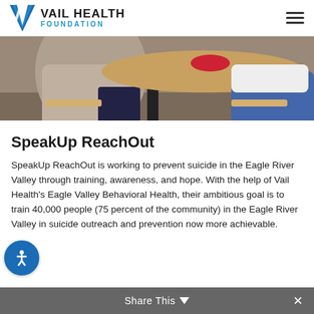VAIL HEALTH FOUNDATION
[Figure (photo): Two people seated at a round wooden table, seen from behind/side, with chairs and a table visible. A red button/object is on the table.]
SpeakUp ReachOut
SpeakUp ReachOut is working to prevent suicide in the Eagle River Valley through training, awareness, and hope. With the help of Vail Health's Eagle Valley Behavioral Health, their ambitious goal is to train 40,000 people (75 percent of the community) in the Eagle River Valley in suicide outreach and prevention now more achievable.
Share This